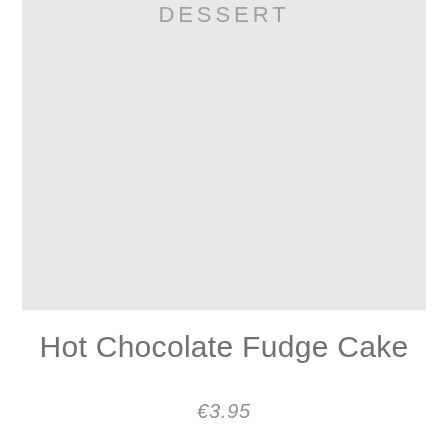DESSERT
[Figure (photo): Large light grey placeholder image for a dessert photo]
Hot Chocolate Fudge Cake
€3.95